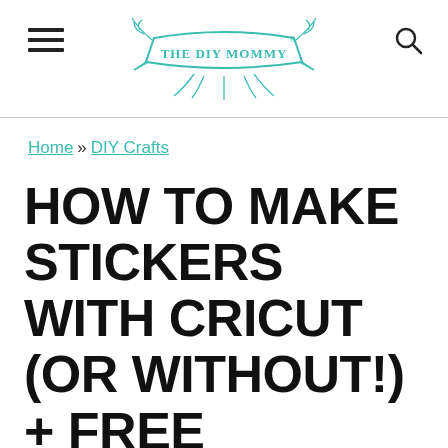THE DIY MOMMY
Home » DIY Crafts
HOW TO MAKE STICKERS WITH CRICUT (OR WITHOUT!) + FREE ENCOURAGEMENT STICKERS TO